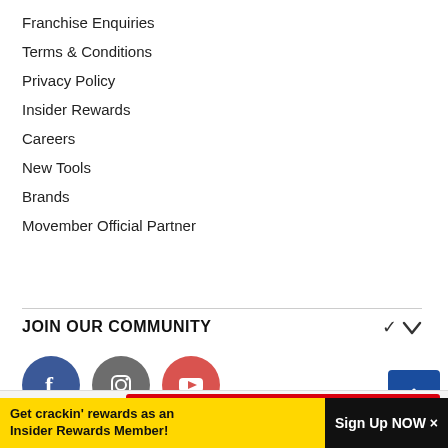Franchise Enquiries
Terms & Conditions
Privacy Policy
Insider Rewards
Careers
New Tools
Brands
Movember Official Partner
JOIN OUR COMMUNITY
[Figure (logo): Facebook, Instagram, and YouTube social media icons as circles, followed by a Facebook Like button showing 46K likes]
Like 46K
Get crackin' rewards as an Insider Rewards Member!
Sign Up NOW ×